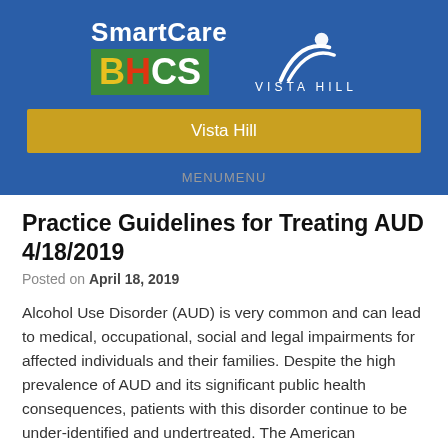[Figure (logo): SmartCare BHCS / Vista Hill logo on blue banner background with gold navigation bar showing 'Vista Hill']
Practice Guidelines for Treating AUD 4/18/2019
Posted on April 18, 2019
Alcohol Use Disorder (AUD) is very common and can lead to medical, occupational, social and legal impairments for affected individuals and their families. Despite the high prevalence of AUD and its significant public health consequences, patients with this disorder continue to be under-identified and undertreated. The American Psychiatric Association has recently come out with practice guidelines for the pharmacological treatment of AUD. “This new guideline is an important step in bringing effective, evidence-